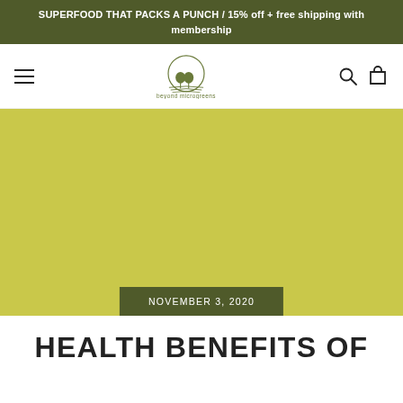SUPERFOOD THAT PACKS A PUNCH / 15% off + free shipping with membership
[Figure (logo): Beyond Microgreens logo with circular emblem showing two trees over field rows, with text 'beyond microgreens' below]
[Figure (other): Olive/yellow-green hero image background placeholder]
NOVEMBER 3, 2020
HEALTH BENEFITS OF